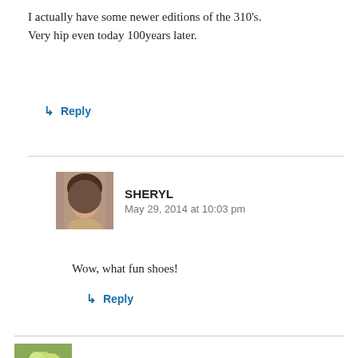I actually have some newer editions of the 310's. Very hip even today 100years later.
↳ Reply
SHERYL
May 29, 2014 at 10:03 pm
Wow, what fun shoes!
↳ Reply
TRKINGMOMOE
May 30, 2014 at 12:47 am
I have a sterling silver shoe button hook that was